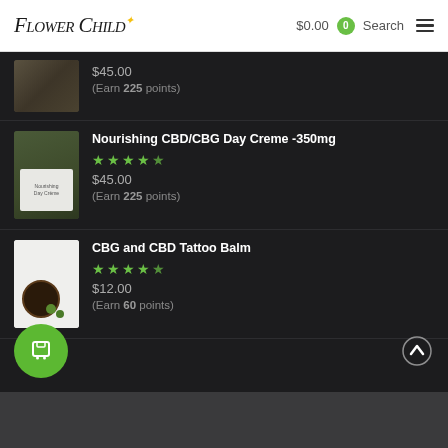Flower Child — $0.00  0  Search
$45.00
(Earn 225 points)
Nourishing CBD/CBG Day Creme -350mg
★★★★★
$45.00
(Earn 225 points)
CBG and CBD Tattoo Balm
★★★★★
$12.00
(Earn 60 points)